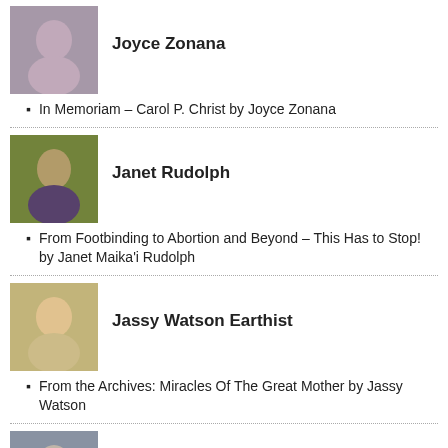[Figure (photo): Portrait photo of Joyce Zonana]
Joyce Zonana
In Memoriam – Carol P. Christ by Joyce Zonana
[Figure (photo): Portrait photo of Janet Rudolph]
Janet Rudolph
From Footbinding to Abortion and Beyond – This Has to Stop! by Janet Maika'i Rudolph
[Figure (photo): Portrait photo of Jassy Watson Earthist]
Jassy Watson Earthist
From the Archives: Miracles Of The Great Mother by Jassy Watson
[Figure (photo): Portrait photo of Judith Shaw]
Judith Shaw
Whale – Lord of the Sea by Judith Shaw – Part 2
[Figure (photo): Portrait photo of Karen Leslie Hernandez]
Karen Leslie Hernandez